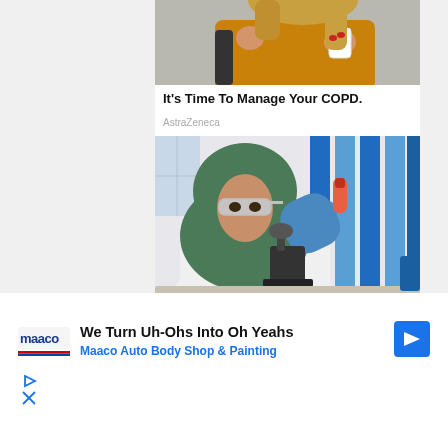[Figure (photo): Top portion of woman in yellow/mustard hoodie holding a white cup, partial view cropped at top]
It's Time To Manage Your COPD.
AstraZeneca
[Figure (photo): Female scientist wearing green hijab and safety glasses, holding a specimen vial near a microscope in a laboratory with blue equipment]
[Figure (other): Maaco Auto Body Shop advertisement banner: 'We Turn Uh-Ohs Into Oh Yeahs / Maaco Auto Body Shop & Painting' with Maaco logo and navigation arrow icon]